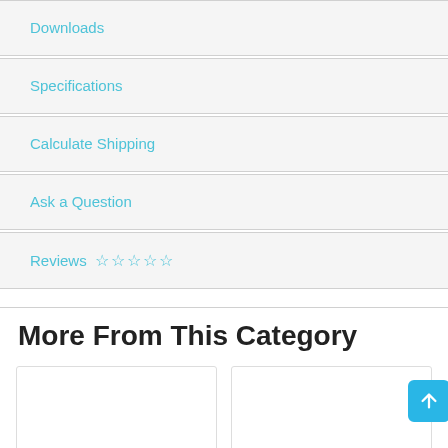Downloads
Specifications
Calculate Shipping
Ask a Question
Reviews ☆ ☆ ☆ ☆ ☆
More From This Category
[Figure (screenshot): Product card: Stainless Steel Platform Trolleys]
[Figure (screenshot): Product card: Stainless Steel 2 & 3 Tier Trolleys]